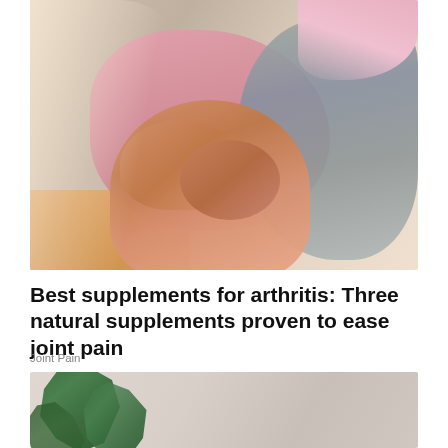[Figure (photo): Close-up photo of a person in pink shorts and gray cardigan sitting down, holding their knee with both hands, suggesting knee/joint pain. Bright indoor background with warm wooden floor visible.]
Best supplements for arthritis: Three natural supplements proven to ease joint pain
Joint Pain
[Figure (photo): Partial photo showing a large monstera/tropical plant in an indoor setting with a light gray wall in the background.]